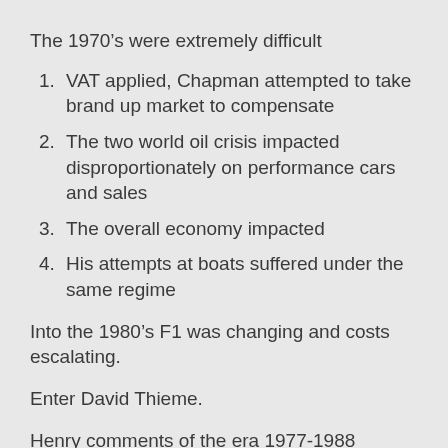The 1970’s were extremely difficult
VAT applied, Chapman attempted to take brand up market to compensate
The two world oil crisis impacted disproportionately on performance cars and sales
The overall economy impacted
His attempts at boats suffered under the same regime
Into the 1980’s F1 was changing and costs escalating.
Enter David Thieme.
Henry comments of the era 1977-1988
“the turbo era of GP motor racing spanned the years